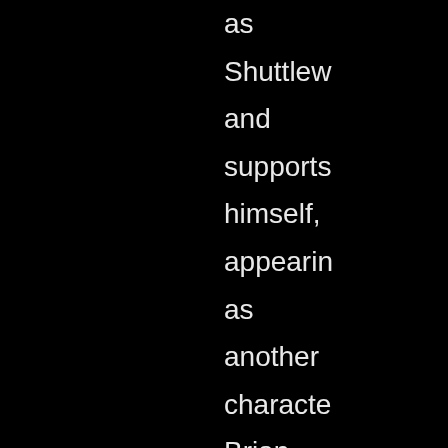as Shuttlew and supports himself, appearin as another characte Brian Appleton who gives bizarre and amusing lectures on rock history. Onew of the UKs true hidden